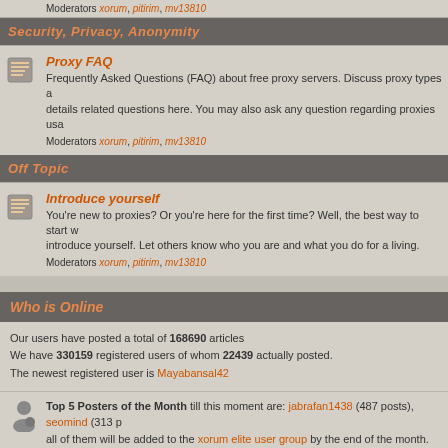Moderators xorum, pitirim, mv13810
Security, Privacy, Anonymity
Proxy FAQ
Frequently Asked Questions (FAQ) about free proxy servers. Discuss proxy types and details related questions here. You may also ask any question regarding proxies usa
Moderators xorum, pitirim, mv13810
Off Topic
Introduce yourself
You're new to proxies? Or you're here for the first time? Well, the best way to start w introduce yourself. Let others know who you are and what you do for a living.
Moderators xorum, pitirim, mv13810
Who is Online
Our users have posted a total of 168690 articles. We have 330159 registered users of whom 22439 actually posted. The newest registered user is Mayabansal42
Top 5 Posters of the Month till this moment are: jabrafan1438 (487 posts), seomind (313 p all of them will be added to the xorum elite user group by the end of the month.
In total there are 106 users online :: 10 Registered, 0 Hidden and 96 Guests [ Board Foun Most users ever online was 542 on Wed Apr 09, 2014 1:10 pm Registered Users: bookflighttickets, jabrafan1438, JordanKicks, kashvi, LamontWi, m ViaCenter23
This data is based on users active over the past five minutes
New posts
No new posts
Powered by phpBB © 2001, 2002 phpBB
Ask for help | © 2016 XROXY.COM | Read privacy statement | Valid HTML 4.01 Transitio